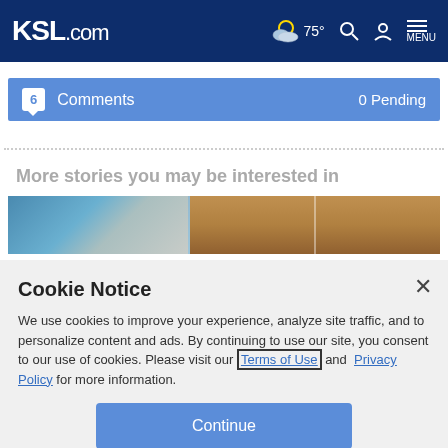KSL.com — 75° weather, search, account, menu
6 Comments   0 Pending
More stories you may be interested in
[Figure (photo): Horizontal strip photo showing building exterior with glass doors/windows, split into panels]
Cookie Notice
We use cookies to improve your experience, analyze site traffic, and to personalize content and ads. By continuing to use our site, you consent to our use of cookies. Please visit our Terms of Use and  Privacy Policy for more information.
Continue